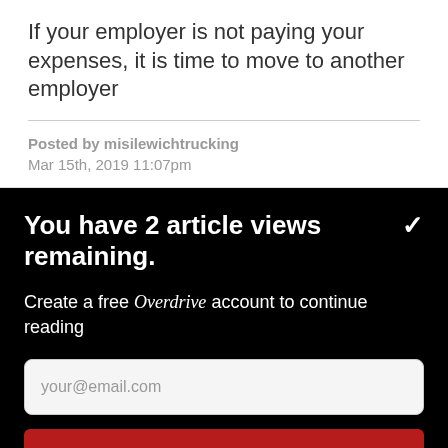If your employer is not paying your expenses, it is time to move to another employer
Posted by misilewichtrucking
Mar 15th, 2019 11:07pm
You have 2 article views remaining.
Create a free Overdrive account to continue reading
your@email.com
CONTINUE